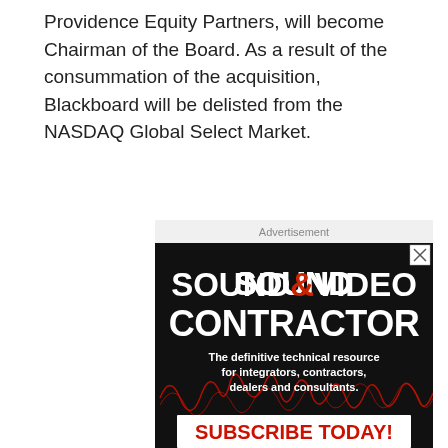Providence Equity Partners, will become Chairman of the Board. As a result of the consummation of the acquisition, Blackboard will be delisted from the NASDAQ Global Select Market.
[Figure (advertisement): Advertisement for Sound&Video Contractor magazine. Black background with large white bold text reading 'SOUND&VIDEO CONTRACTOR' (with & in red), subtitle text 'The definitive technical resource for integrators, contractors, dealers and consultants.' with red waveform graphic, and a white box at bottom with red bold text 'SUBSCRIBE TODAY!'. A small X close button appears in the top right corner.]